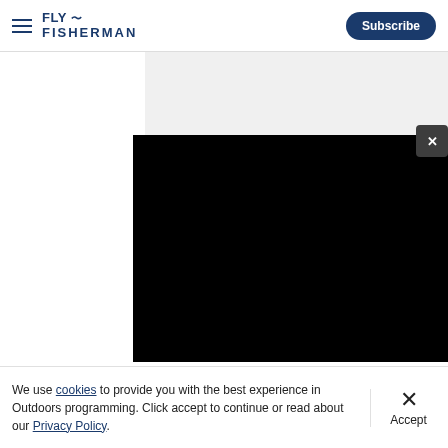Fly Fisherman | Subscribe
[Figure (screenshot): White panel on left, dark/black video overlay popup on right, close X button in dark gray square on far right]
How to Get Close to Trout
We use cookies to provide you with the best experience in Outdoors programming. Click accept to continue or read about our Privacy Policy.